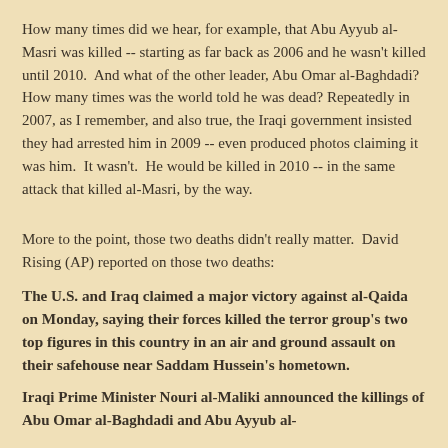How many times did we hear, for example, that Abu Ayyub al-Masri was killed -- starting as far back as 2006 and he wasn't killed until 2010.  And what of the other leader, Abu Omar al-Baghdadi?  How many times was the world told he was dead? Repeatedly in 2007, as I remember, and also true, the Iraqi government insisted they had arrested him in 2009 -- even produced photos claiming it was him.  It wasn't.  He would be killed in 2010 -- in the same attack that killed al-Masri, by the way.
More to the point, those two deaths didn't really matter.  David Rising (AP) reported on those two deaths:
The U.S. and Iraq claimed a major victory against al-Qaida on Monday, saying their forces killed the terror group's two top figures in this country in an air and ground assault on their safehouse near Saddam Hussein's hometown.
Iraqi Prime Minister Nouri al-Maliki announced the killings of Abu Omar al-Baghdadi and Abu Ayyub al-